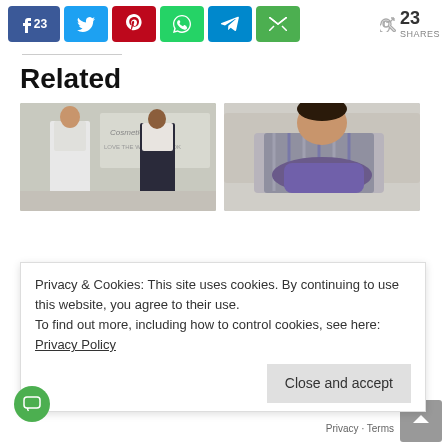[Figure (screenshot): Social sharing bar with Facebook (23 shares), Twitter, Pinterest, WhatsApp, Telegram, Email buttons, and 23 SHARES count]
Related
[Figure (photo): Two women standing in front of a CosmetiCare 'Love The Way You Look' sign]
[Figure (photo): Person sitting with arm in a purple sling after surgery]
Privacy & Cookies: This site uses cookies. By continuing to use this website, you agree to their use. To find out more, including how to control cookies, see here: Privacy Policy
Close and accept